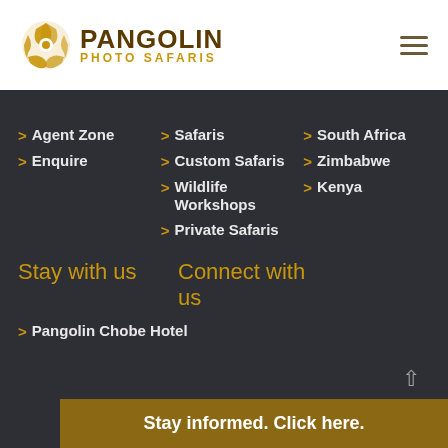[Figure (logo): Pangolin Photo Safaris logo with camera aperture icon]
Agent Zone
Enquire
Safaris
Custom Safaris
Wildlife Workshops
Private Safaris
Botswana
South Africa
Zimbabwe
Kenya
Stay with us
Connect with us
Pangolin Chobe Hotel
Stay informed. Click here.